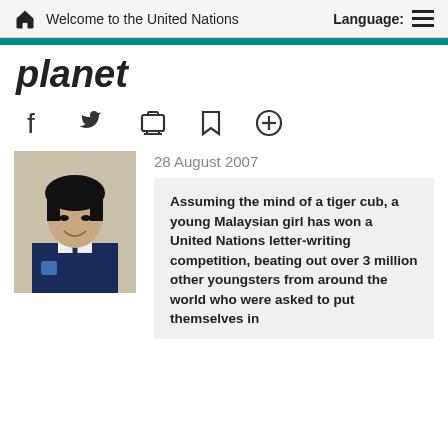Welcome to the United Nations  Language:
planet
[Figure (other): Social media icons: Facebook, Twitter, Print, Bookmark, Add]
[Figure (photo): Portrait photo of a young Malaysian girl in a school uniform with a dark vest and tie]
28 August 2007
Assuming the mind of a tiger cub, a young Malaysian girl has won a United Nations letter-writing competition, beating out over 3 million other youngsters from around the world who were asked to put themselves in